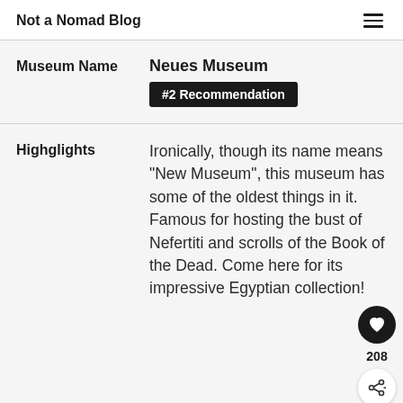Not a Nomad Blog
Museum Name
Neues Museum
#2 Recommendation
Highglights
Ironically, though its name means "New Museum", this museum has some of the oldest things in it. Famous for hosting the bust of Nefertiti and scrolls of the Book of the Dead. Come here for its impressive Egyptian collection!